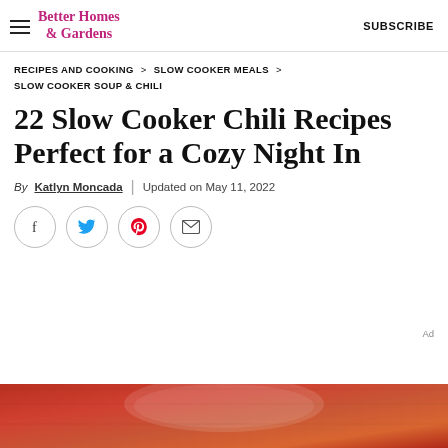Better Homes & Gardens | SUBSCRIBE
RECIPES AND COOKING > SLOW COOKER MEALS > SLOW COOKER SOUP & CHILI
22 Slow Cooker Chili Recipes Perfect for a Cozy Night In
By Katlyn Moncada | Updated on May 11, 2022
[Figure (other): Social sharing buttons: Facebook, Twitter, Pinterest, Email]
[Figure (photo): Bottom portion of a food photo showing a bowl of chili on a red/orange background, partially cropped]